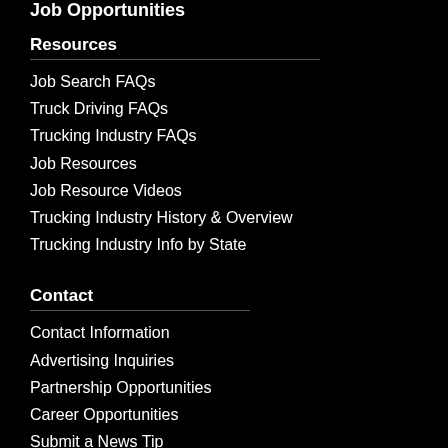Job Opportunities
Resources
Job Search FAQs
Truck Driving FAQs
Trucking Industry FAQs
Job Resources
Job Resource Videos
Trucking Industry History & Overview
Trucking Industry Info by State
Contact
Contact Information
Advertising Inquiries
Partnership Opportunities
Career Opportunities
Submit a News Tip
[Figure (screenshot): Advertisement banner for Wegmans showing 'Our Best-of-the-Season Produce' with Wegmans logo and a blue navigation arrow icon]